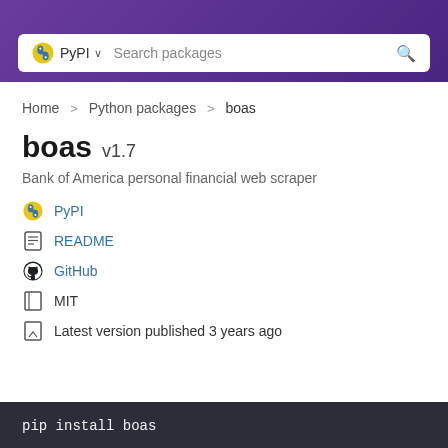PyPI Search packages
Home > Python packages > boas
boas v1.7
Bank of America personal financial web scraper
PyPI
README
GitHub
MIT
Latest version published 3 years ago
pip install boas